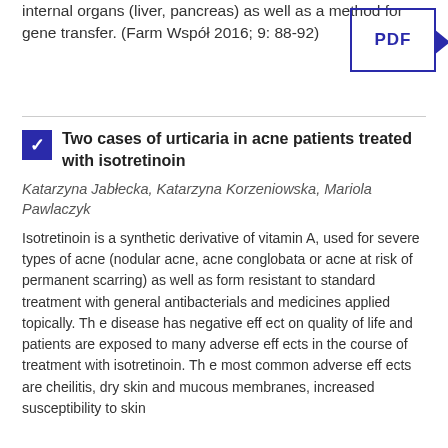internal organs (liver, pancreas) as well as a method for gene transfer. (Farm Współ 2016; 9: 88-92)
[Figure (other): PDF button with dark blue border and right-pointing arrow]
Two cases of urticaria in acne patients treated with isotretinoin
Katarzyna Jabłecka, Katarzyna Korzeniowska, Mariola Pawlaczyk
Isotretinoin is a synthetic derivative of vitamin A, used for severe types of acne (nodular acne, acne conglobata or acne at risk of permanent scarring) as well as form resistant to standard treatment with general antibacterials and medicines applied topically. Th e disease has negative eff ect on quality of life and patients are exposed to many adverse eff ects in the course of treatment with isotretinoin. Th e most common adverse eff ects are cheilitis, dry skin and mucous membranes, increased susceptibility to skin